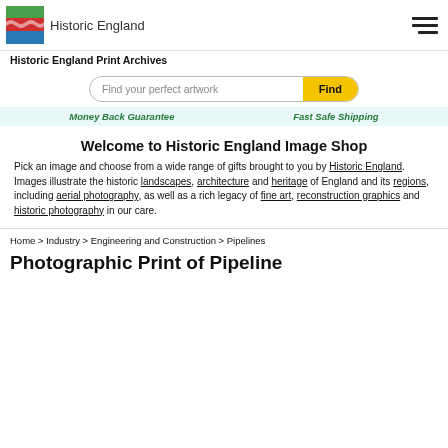Historic England
Historic England Print Archives
Find your perfect artwork | Find
Money Back Guarantee | Fast Safe Shipping
Welcome to Historic England Image Shop
Pick an image and choose from a wide range of gifts brought to you by Historic England. Images illustrate the historic landscapes, architecture and heritage of England and its regions, including aerial photography, as well as a rich legacy of fine art, reconstruction graphics and historic photography in our care.
Home > Industry > Engineering and Construction > Pipelines
Photographic Print of Pipeline